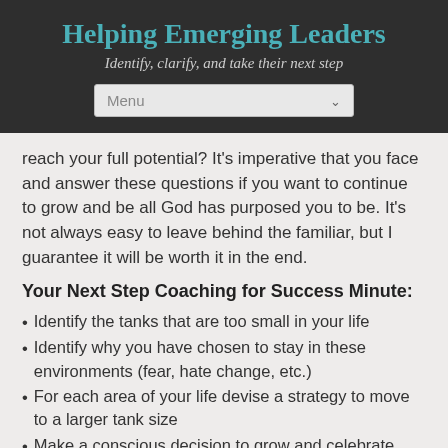Helping Emerging Leaders
Identify, clarify, and take their next step
reach your full potential?  It's imperative that you face and answer these questions if you want to continue to grow and be all God has purposed you to be. It's not always easy to leave behind the familiar, but I guarantee it will be worth it in the end.
Your Next Step Coaching for Success Minute:
Identify the tanks that are too small in your life
Identify why you have chosen to stay in these environments (fear, hate change, etc.)
For each area of your life devise a strategy to move to a larger tank size
Make a conscious decision to grow and celebrate your growth